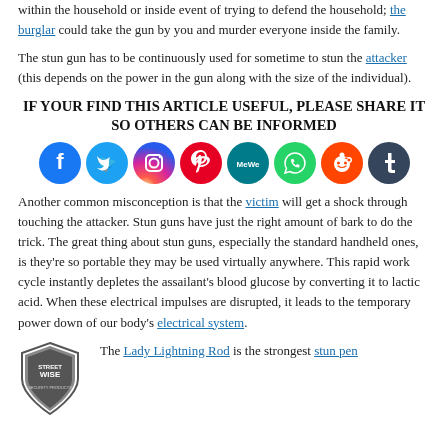within the household or inside event of trying to defend the household; the burglar could take the gun by you and murder everyone inside the family.
The stun gun has to be continuously used for sometime to stun the attacker (this depends on the power in the gun along with the size of the individual).
IF YOUR FIND THIS ARTICLE USEFUL, PLEASE SHARE IT SO OTHERS CAN BE INFORMED
[Figure (infographic): Row of 8 social media icons (circles): Facebook (dark blue), Twitter (light blue), Instagram (gradient pink/purple/orange), Pinterest (red), MeWe (teal), WhatsApp (green), Reddit (orange), Tumblr (dark navy)]
Another common misconception is that the victim will get a shock through touching the attacker. Stun guns have just the right amount of bark to do the trick. The great thing about stun guns, especially the standard handheld ones, is they're so portable they may be used virtually anywhere. This rapid work cycle instantly depletes the assailant's blood glucose by converting it to lactic acid. When these electrical impulses are disrupted, it leads to the temporary power down of our body's electrical system.
[Figure (logo): Streetwise security products shield logo]
The Lady Lightning Rod is the strongest stun pen